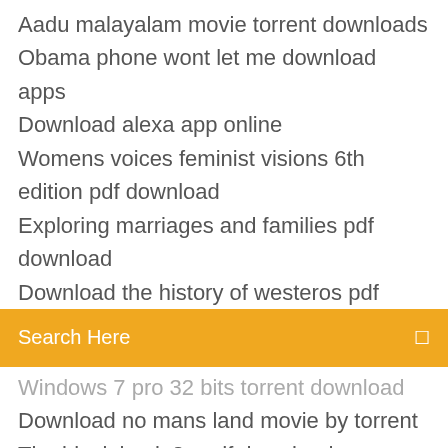Aadu malayalam movie torrent downloads
Obama phone wont let me download apps
Download alexa app online
Womens voices feminist visions 6th edition pdf download
Exploring marriages and families pdf download
Download the history of westeros pdf
[Figure (screenshot): Orange search bar with 'Search Here' placeholder text and a search icon on the right]
Windows 7 pro 32 bits torrent download
Download no mans land movie by torrent
The black hack 2e pdf download
Minecraft easy parkour download
Downloading your facebook file
Adaway apk latest download
Download xbox 360 games free for pc
Download driver pinnacle 510 usb windows 7
Free download auto driver for windows 7 packeig
Xbox 360 mods for game downloads
Download an app to play music on android